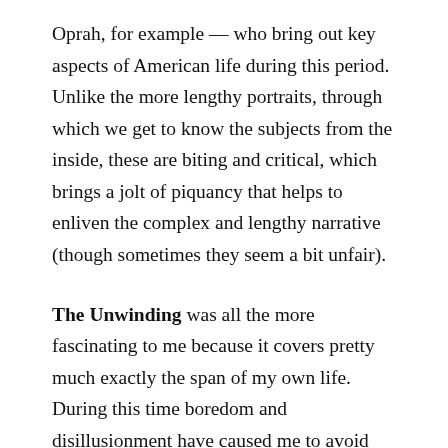Oprah, for example — who bring out key aspects of American life during this period. Unlike the more lengthy portraits, through which we get to know the subjects from the inside, these are biting and critical, which brings a jolt of piquancy that helps to enliven the complex and lengthy narrative (though sometimes they seem a bit unfair).
The Unwinding was all the more fascinating to me because it covers pretty much exactly the span of my own life. During this time boredom and disillusionment have caused me to avoid politics and economics as much as possible, with the result that I'm massively ignorant in these realms. It's embarrassing to admit how many people and events in this book I knew next to nothing about, but Packer's storytelling method made